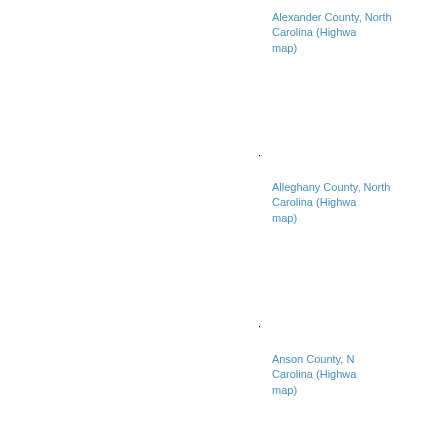Alexander County, North Carolina (Highway map)
·
Alleghany County, North Carolina (Highway map)
·
Anson County, North Carolina (Highway map)